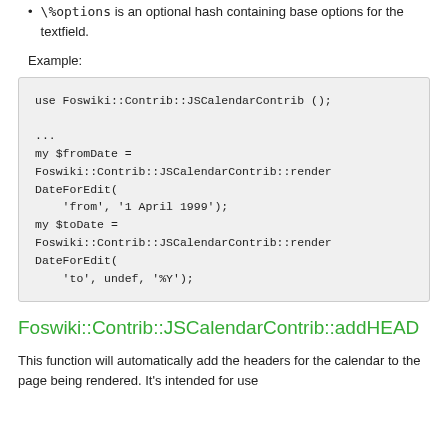\%options is an optional hash containing base options for the textfield.
Example:
[Figure (screenshot): Code block showing Perl example using Foswiki::Contrib::JSCalendarContrib with use statement, renderDateForEdit calls for 'from' and 'to' dates]
Foswiki::Contrib::JSCalendarContrib::addHEAD
This function will automatically add the headers for the calendar to the page being rendered. It's intended for use